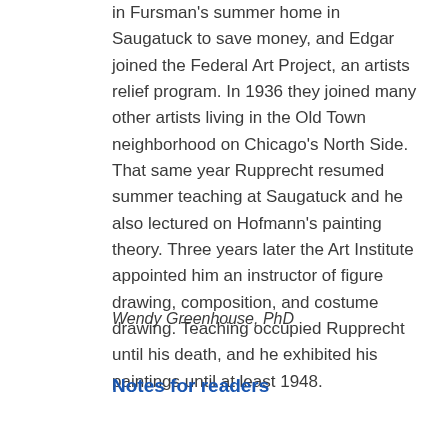in Fursman's summer home in Saugatuck to save money, and Edgar joined the Federal Art Project, an artists relief program. In 1936 they joined many other artists living in the Old Town neighborhood on Chicago's North Side. That same year Rupprecht resumed summer teaching at Saugatuck and he also lectured on Hofmann's painting theory. Three years later the Art Institute appointed him an instructor of figure drawing, composition, and costume drawing. Teaching occupied Rupprecht until his death, and he exhibited his paintings until at least 1948.
Wendy Greenhouse, PhD
Notes for readers